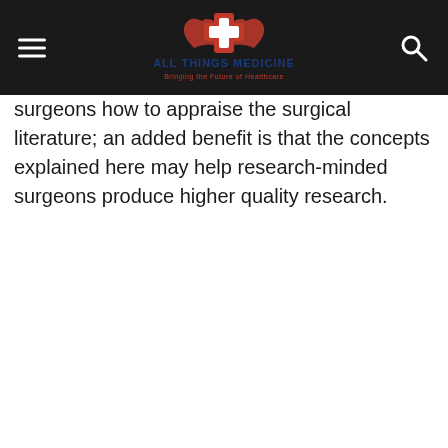ALL THINGS MEDICINE — Bringing the Future of Healthcare
surgeons how to appraise the surgical literature; an added benefit is that the concepts explained here may help research-minded surgeons produce higher quality research.